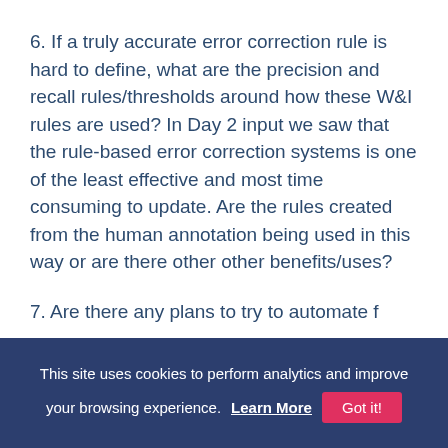6. If a truly accurate error correction rule is hard to define, what are the precision and recall rules/thresholds around how these W&I rules are used? In Day 2 input we saw that the rule-based error correction systems is one of the least effective and most time consuming to update. Are the rules created from the human annotation being used in this way or are there other other benefits/uses?
7. Are there any plans to try to automate f...
This site uses cookies to perform analytics and improve your browsing experience. Learn More  Got it!